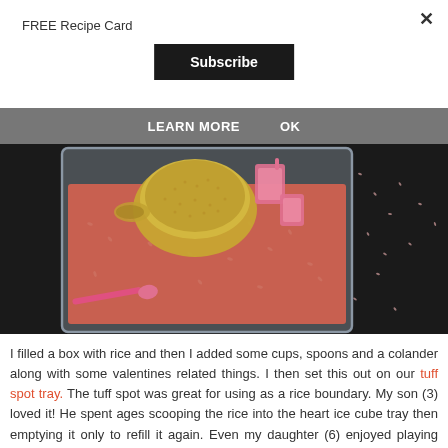FREE Recipe Card
Subscribe
LEARN MORE    OK
[Figure (photo): A plastic tray filled with pink/red rice, a gold colander, and pink measuring cups and spoons. Some rice is scattered on a dark surface around the tray.]
I filled a box with rice and then I added some cups, spoons and a colander along with some valentines related things. I then set this out on our tuff spot tray. The tuff spot was great for using as a rice boundary. My son (3) loved it! He spent ages scooping the rice into the heart ice cube tray then emptying it only to refill it again. Even my daughter (6) enjoyed playing with it.